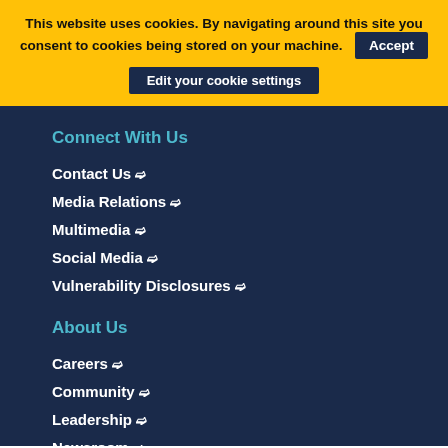This website uses cookies. By navigating around this site you consent to cookies being stored on your machine. Accept Edit your cookie settings
Connect With Us
Contact Us ›
Media Relations ›
Multimedia ›
Social Media ›
Vulnerability Disclosures ›
About Us
Careers ›
Community ›
Leadership ›
Newsroom ›